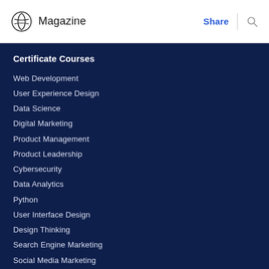Magazine  Share
Certificate Courses
Web Development
User Experience Design
Data Science
Digital Marketing
Product Management
Product Leadership
Cybersecurity
Data Analytics
Python
User Interface Design
Design Thinking
Search Engine Marketing
Social Media Marketing